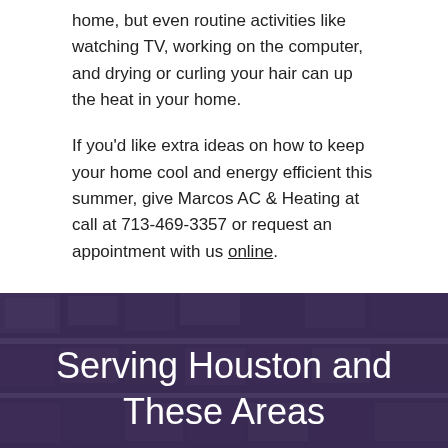home, but even routine activities like watching TV, working on the computer, and drying or curling your hair can up the heat in your home.
If you'd like extra ideas on how to keep your home cool and energy efficient this summer, give Marcos AC & Heating at call at 713-469-3357 or request an appointment with us online.
[Figure (photo): Aerial photo of a Houston neighborhood with residential houses, overlaid with a dark purple/indigo color tint.]
Serving Houston and These Areas